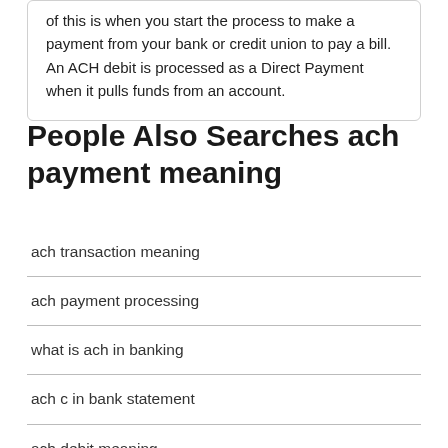of this is when you start the process to make a payment from your bank or credit union to pay a bill. An ACH debit is processed as a Direct Payment when it pulls funds from an account.
People Also Searches ach payment meaning
ach transaction meaning
ach payment processing
what is ach in banking
ach c in bank statement
ach debit meaning
ach full form in bank